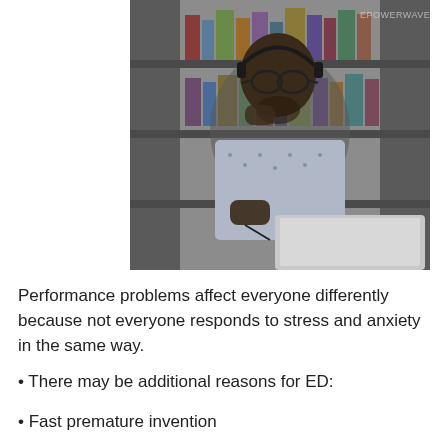[Figure (photo): A man wearing glasses and headphones sitting at a desk with a laptop in a library setting, with bookshelves in the background. Watermark reads EPOWERWAVE.]
Performance problems affect everyone differently because not everyone responds to stress and anxiety in the same way.
• There may be additional reasons for ED:
• Fast premature invention